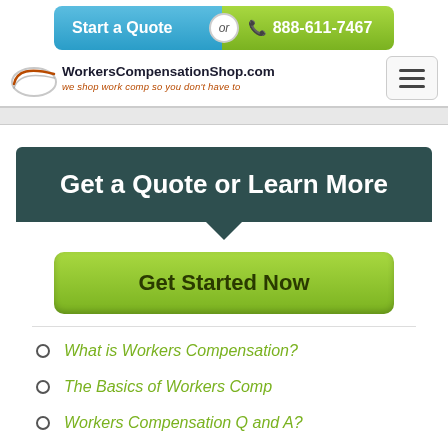[Figure (infographic): Top CTA bar with 'Start a Quote' blue button on left, 'or' circle in middle, phone icon and '888-611-7467' green button on right]
[Figure (logo): WorkersCompensationShop.com logo with arc graphic and tagline 'we shop work comp so you don't have to']
Get a Quote or Learn More
[Figure (infographic): Green 'Get Started Now' button]
What is Workers Compensation?
The Basics of Workers Comp
Workers Compensation Q and A?
Insurance Laws for Work Comp